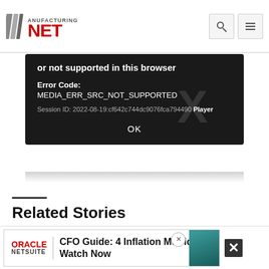Manufacturing.net
[Figure (screenshot): Video player error dialog on dark background showing: 'or not supported in this browser', Error Code: MEDIA_ERR_SRC_NOT_SUPPORTED, Session ID: 2022-08-19:cf642c744dc9076fca794490 Player, OK button. Large X watermark in center.]
Related Stories
OPERATIONS
Beaumont Machine Reacquired by Founders
[Figure (photo): Thumbnail photo of industrial machinery with orange and metallic parts]
[Figure (screenshot): Oracle NetSuite advertisement banner: CFO Guide: 4 Inflation Metrics to Watch Now]